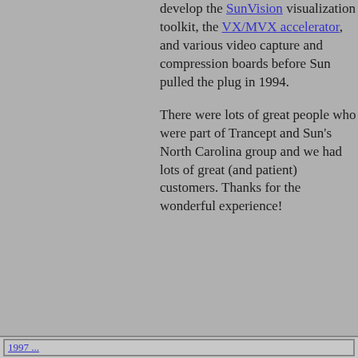develop the SunVision visualization toolkit, the VX/MVX accelerator, and various video capture and compression boards before Sun pulled the plug in 1994.

There were lots of great people who were part of Trancept and Sun's North Carolina group and we had lots of great (and patient) customers. Thanks for the wonderful experience!
1997 ...